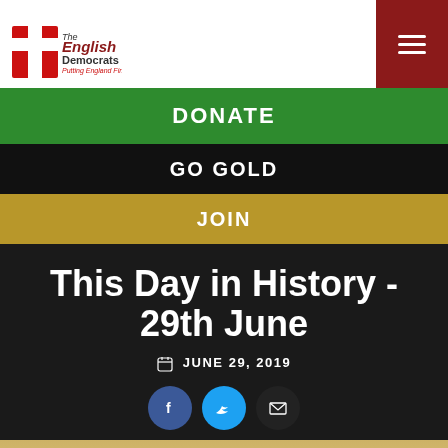[Figure (logo): The English Democrats party logo with red cross and text 'Putting England First']
DONATE
GO GOLD
JOIN
This Day in History - 29th June
JUNE 29, 2019
[Figure (illustration): Social sharing buttons: Facebook, Twitter, Email. Below is a blurred gold/warm-toned background image.]